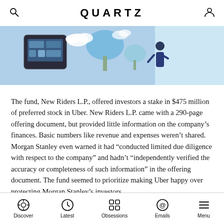QUARTZ
[Figure (illustration): Illustration of a person with a smartphone or device interface, clouds and a tree in the background, on a light blue background]
The fund, New Riders L.P., offered investors a stake in $475 million of preferred stock in Uber. New Riders L.P. came with a 290-page offering document, but provided little information on the company's finances. Basic numbers like revenue and expenses weren't shared. Morgan Stanley even warned it had “conducted limited due diligence with respect to the company” and hadn’t “independently verified the accuracy or completeness of such information” in the offering document. The fund seemed to prioritize making Uber happy over protecting Morgan Stanley’s investors.
Discover | Latest | Obsessions | Emails | Menu